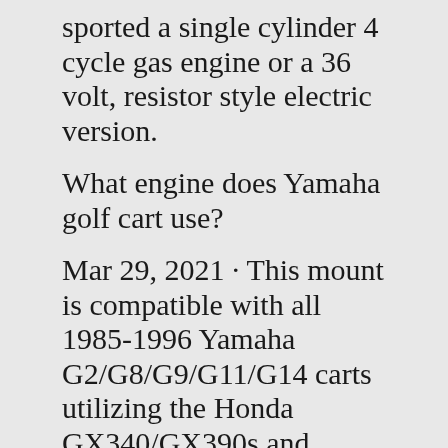sported a single cylinder 4 cycle gas engine or a 36 volt, resistor style electric version. What engine does Yamaha golf cart use? Mar 29, 2021 · This mount is compatible with all 1985-1996 Yamaha G2/G8/G9/G11/G14 carts utilizing the Honda GX340/GX390s and GX420/GX440 Clone engines. Fully Adjustable CNC Motor Plate with Clearance for Oil Drain. Engine Mounting Hardware Included. Dogbones Included. Compatible with all